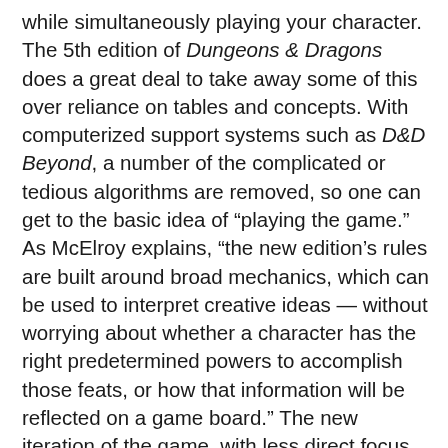while simultaneously playing your character. The 5th edition of Dungeons & Dragons does a great deal to take away some of this over reliance on tables and concepts. With computerized support systems such as D&D Beyond, a number of the complicated or tedious algorithms are removed, so one can get to the basic idea of "playing the game." As McElroy explains, "the new edition's rules are built around broad mechanics, which can be used to interpret creative ideas — without worrying about whether a character has the right predetermined powers to accomplish those feats, or how that information will be reflected on a game board." The new iteration of the game, with less direct focus on die rolls and tables and more concentration on the "fun of the game," allowed for a balance that paid homage to the tables and metrics that had become synonymous with the game since its early days with TSR and a player-centric system that optimized the enjoyment of players at all levels. I propose this model of thinking, a player-centric game working heavily on imagination and creativity, shifts the capital of Dungeons &